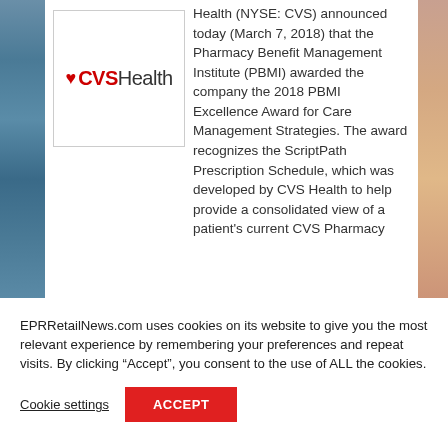[Figure (logo): CVS Health logo with red heart and CVSHealth text inside a bordered box]
Health (NYSE: CVS) announced today (March 7, 2018) that the Pharmacy Benefit Management Institute (PBMI) awarded the company the 2018 PBMI Excellence Award for Care Management Strategies. The award recognizes the ScriptPath Prescription Schedule, which was developed by CVS Health to help provide a consolidated view of a patient's current CVS Pharmacy
EPRRetailNews.com uses cookies on its website to give you the most relevant experience by remembering your preferences and repeat visits. By clicking “Accept”, you consent to the use of ALL the cookies.
Cookie settings
ACCEPT